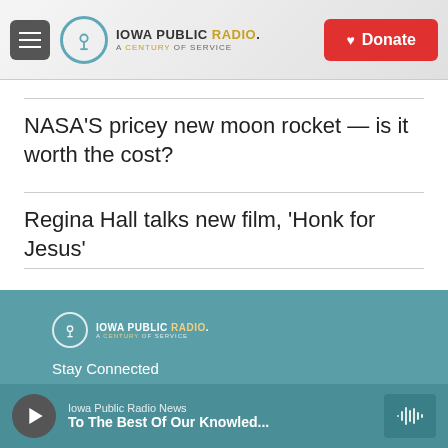Iowa Public Radio. A Century of Service. Donate.
NASA'S pricey new moon rocket — is it worth the cost?
Regina Hall talks new film, 'Honk for Jesus'
Stay Connected. Iowa Public Radio News. To The Best Of Our Knowled...